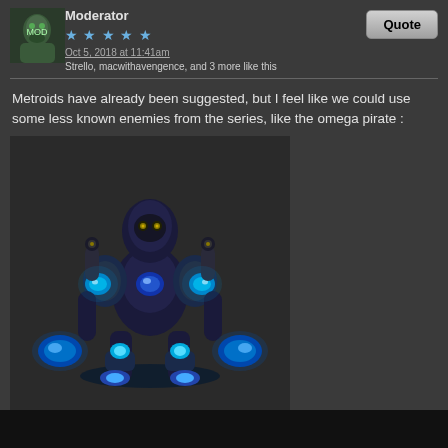Moderator
Oct 5, 2018 at 11:41am
Strello, macwithavengence, and 3 more like this
Metroids have already been suggested, but I feel like we could use some less known enemies from the series, like the omega pirate :
[Figure (illustration): 3D rendered image of an Omega Pirate from Metroid Prime — a large dark blue armored alien creature with glowing cyan crystal formations on its arms, legs, and torso, standing against a dark background]